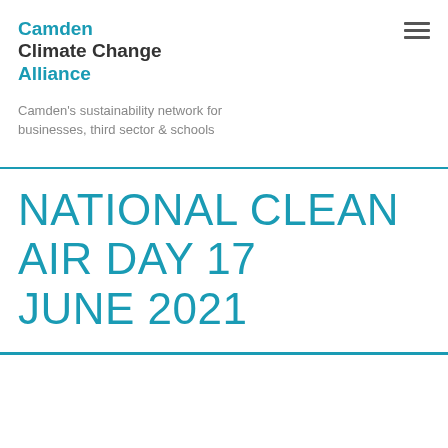Camden Climate Change Alliance
Camden's sustainability network for businesses, third sector & schools
NATIONAL CLEAN AIR DAY 17 JUNE 2021